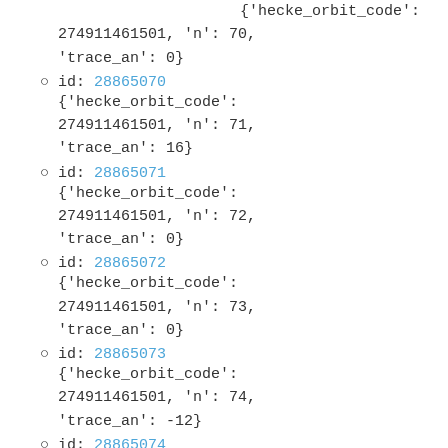{ 'hecke_orbit_code': 274911461501, 'n': 70, 'trace_an': 0}
id: 28865070 {'hecke_orbit_code': 274911461501, 'n': 71, 'trace_an': 16}
id: 28865071 {'hecke_orbit_code': 274911461501, 'n': 72, 'trace_an': 0}
id: 28865072 {'hecke_orbit_code': 274911461501, 'n': 73, 'trace_an': 0}
id: 28865073 {'hecke_orbit_code': 274911461501, 'n': 74, 'trace_an': -12}
id: 28865074 {'hecke_orbit_code':